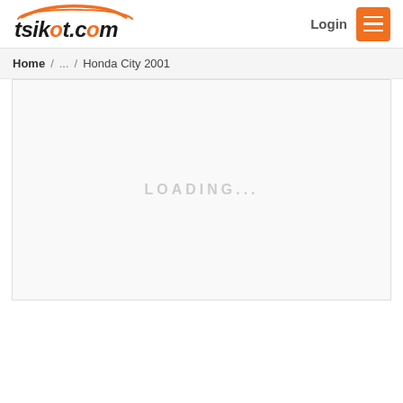tsikot.com | Login | Menu
Home / ... / Honda City 2001
[Figure (screenshot): Loading placeholder area with text LOADING...]